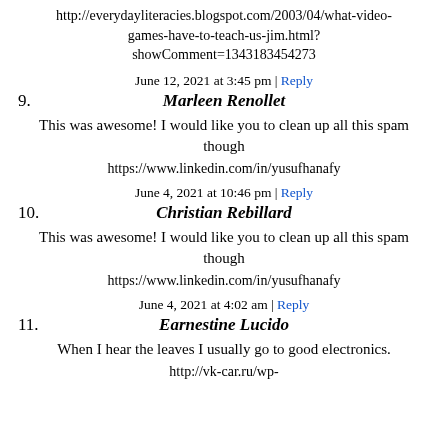http://everydayliteracies.blogspot.com/2003/04/what-video-games-have-to-teach-us-jim.html?showComment=1343183454273
June 12, 2021 at 3:45 pm | Reply
9. Marleen Renollet
This was awesome! I would like you to clean up all this spam though
https://www.linkedin.com/in/yusufhanafy
June 4, 2021 at 10:46 pm | Reply
10. Christian Rebillard
This was awesome! I would like you to clean up all this spam though
https://www.linkedin.com/in/yusufhanafy
June 4, 2021 at 4:02 am | Reply
11. Earnestine Lucido
When I hear the leaves I usually go to good electronics.
http://vk-car.ru/wp-